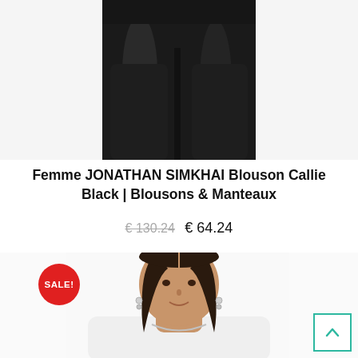[Figure (photo): Close-up photo of a person wearing black leather-look wide-leg trousers, cropped at the torso showing one hand, against a white background.]
Femme JONATHAN SIMKHAI Blouson Callie Black | Blousons & Manteaux
€ 130.24  € 64.24
[Figure (photo): Photo of a young woman with straight dark hair wearing a white knit cardigan and silver jewelry, looking directly at the camera against a white background. A red SALE! badge overlays the top-left corner of the image.]